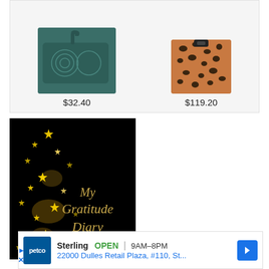[Figure (photo): Two product images side by side on a light gray background: a teal/dark green quilted wristlet wallet on the left, and a leopard print wallet/bag on the right]
$32.40
$119.20
[Figure (photo): Black book cover with gold glittering stars cascading down the left side, with gold cursive text reading 'My Gratitude Diary']
[Figure (infographic): Petco advertisement showing: Petco logo (blue square with white text), store name 'Sterling', status 'OPEN', hours '9AM-8PM', address '22000 Dulles Retail Plaza, #110, St...', and a blue navigation arrow icon]